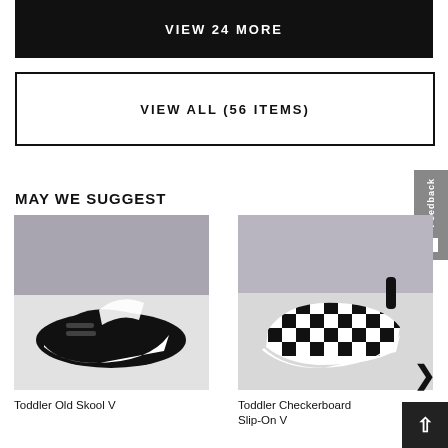VIEW 24 MORE
VIEW ALL (56 ITEMS)
MAY WE SUGGEST
[Figure (photo): Toddler Old Skool V black velcro sneaker for toddlers on grey/white background]
Toddler Old Skool V
[Figure (photo): Toddler Checkerboard Slip-On V black and white checkered sneaker on grey/white background]
Toddler Checkerboard Slip-On V